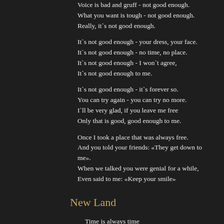Voice is bad and gruff - not good enough.
What you want is tough - not good enough.
Really, it`s not good enough.
It`s not good enough - your dress, your face.
It`s not good enough - no time, no place.
It`s not good enough - I won`t agree,
It`s not good enough to me.
It`s not good enough - it`s forever so.
You can try again - you can try no more.
I`ll be very glad, if you leave me free
Only that is good, good enough to me.
Once I took a place that was always free.
And you told your friends: «They get down to me».
When we talked you were genial for a while,
Even said to me: «Keep your smile»
New Land
Time is always time
Oh, for you and for me.
You will never lie
Only when you are 17.
Now it's only that game
And whatever I'll do -